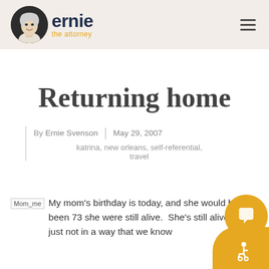ernie the attorney
Returning home
By Ernie Svenson | May 29, 2007
katrina, new orleans, self-referential, travel
My mom's birthday is today, and she would have been 73 she were still alive.  She's still alive, but just not in a way that we know